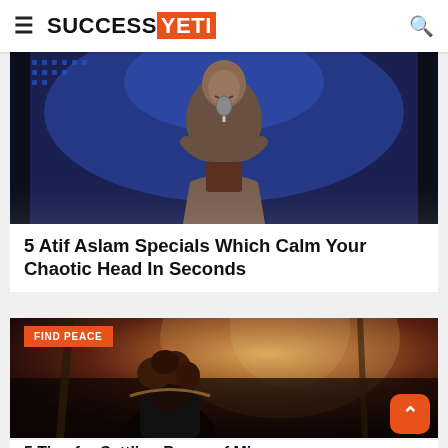SUCCESS YETI
[Figure (photo): A male singer performing at a microphone on stage with blue stage lighting]
5 Atif Aslam Specials Which Calm Your Chaotic Head In Seconds
[Figure (photo): A person with curly hair seen from behind at a concert with warm foggy stage lighting, with FIND PEACE category tag]
5 Tips for Settling Peace of Mi...